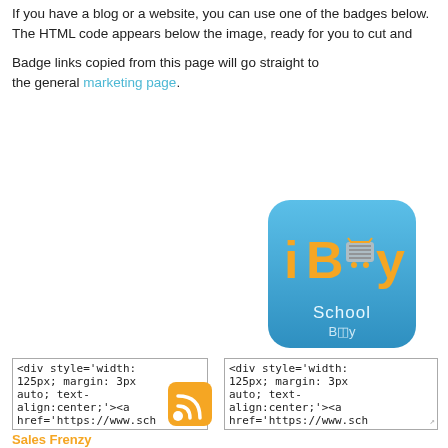If you have a blog or a website, you can use one of the badges below. The HTML code appears below the image, ready for you to cut and paste.
Badge links copied from this page will go straight to the general marketing page.
[Figure (logo): iBuy SchoolBuy app icon badge - blue rounded rectangle with orange 'iBuy' text and shopping cart icon, 'SchoolBuy' text below]
[Figure (screenshot): Text area showing HTML code: <div style='width: 125px; margin: 3px auto; text-align:center;'><a href='https://www.sch...]
[Figure (screenshot): Text area showing HTML code: <div style='width: 125px; margin: 3px auto; text-align:center;'><a href='https://www.sch...]
[Figure (logo): RSS feed icon - orange square with white RSS symbol]
Sales Frenzy